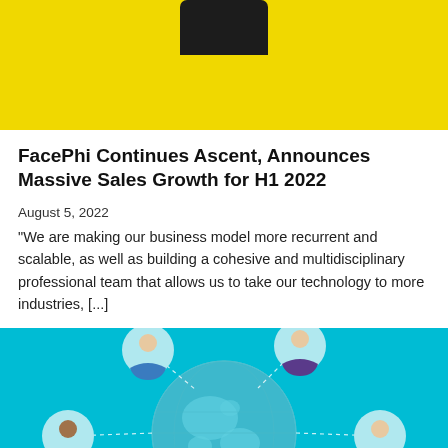[Figure (photo): Top portion of a photo showing a dark smartphone on a yellow background]
FacePhi Continues Ascent, Announces Massive Sales Growth for H1 2022
August 5, 2022
"We are making our business model more recurrent and scalable, as well as building a cohesive and multidisciplinary professional team that allows us to take our technology to more industries, [...]
[Figure (illustration): Illustration of a globe on a teal/cyan background with cartoon person avatars connected by dashed lines representing global network connectivity]